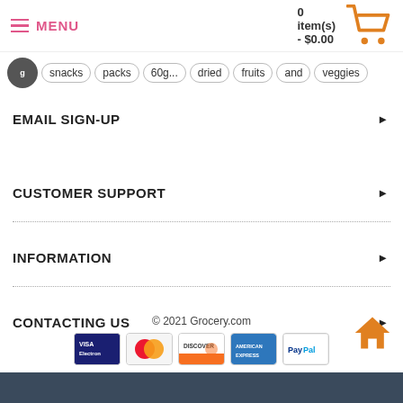MENU | 0 item(s) - $0.00
snacks packs 60g... dried fruits and veggies
EMAIL SIGN-UP
CUSTOMER SUPPORT
INFORMATION
CONTACTING US
© 2021 Grocery.com
[Figure (other): Payment method icons: Visa Electron, MasterCard, Discover, American Express, PayPal]
[Figure (other): Orange home button icon]